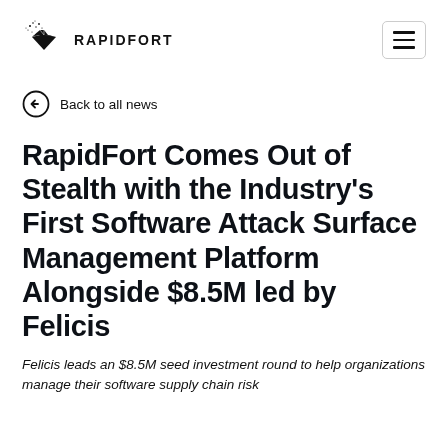RAPIDFORT
Back to all news
RapidFort Comes Out of Stealth with the Industry's First Software Attack Surface Management Platform Alongside $8.5M led by Felicis
Felicis leads an $8.5M seed investment round to help organizations manage their software supply chain risk